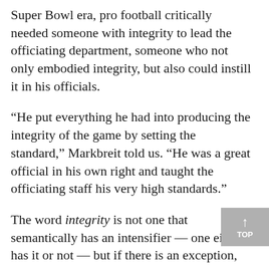Super Bowl era, pro football critically needed someone with integrity to lead the officiating department, someone who not only embodied integrity, but also could instill it in his officials.
“He put everything he had into producing the integrity of the game by setting the standard,” Markbreit told us. “He was a great official in his own right and taught the officiating staff his very high standards.”
The word integrity is not one that semantically has an intensifier — one either has it or not — but if there is an exception, McNally certainly would be.
“Art McNally belongs in the Hall of Fame,” says Hochuli, “because he quite frankly, set the sta[ndard] of integrity — the most important characteristic of any